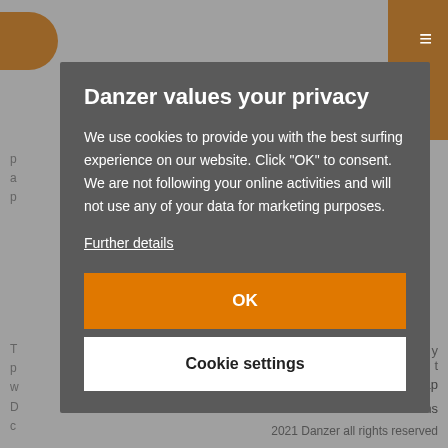[Figure (screenshot): Website background partially visible behind cookie consent modal. Shows orange Danzer logo/bar at top, partial text content, and footer links.]
Danzer values your privacy
We use cookies to provide you with the best surfing experience on our website. Click "OK" to consent. We are not following your online activities and will not use any of your data for marketing purposes.
Further details
OK
Cookie settings
Sitemap
General Terms
2021 Danzer all rights reserved